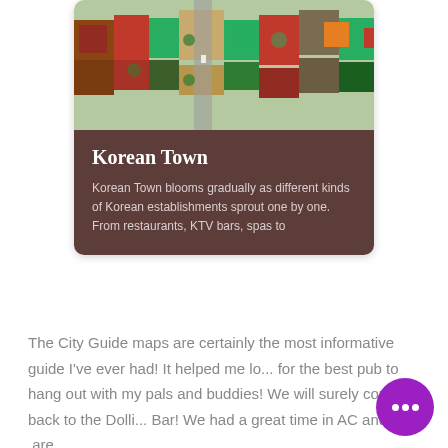[Figure (photo): Aerial view of Korean Town showing rooftops, streets, and urban layout with green trees]
Korean Town
Korean Town blooms gradually as different kinds of Korean establishments sprout one by one. From restaurants, KTV bars, spas to
The City Guide maps are certainly the most informative guide I've ever had! It helped me lo... for the best pub to hang out with my pals and buddies! We will surely come back to the Dolli... Bar! We had a great time in AC and we  are